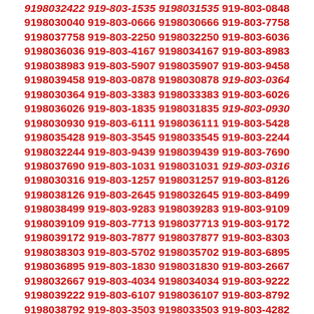9198032422 919-803-1535 9198031535 919-803-0848 9198030040 919-803-0666 9198030666 919-803-7758 9198037758 919-803-2250 9198032250 919-803-6036 9198036036 919-803-4167 9198034167 919-803-8983 9198038983 919-803-5907 9198035907 919-803-9458 9198039458 919-803-0878 9198030878 919-803-0364 9198030364 919-803-3383 9198033383 919-803-6026 9198036026 919-803-1835 9198031835 919-803-0930 9198030930 919-803-6111 9198036111 919-803-5428 9198035428 919-803-3545 9198033545 919-803-2244 9198032244 919-803-9439 9198039439 919-803-7690 9198037690 919-803-1031 9198031031 919-803-0316 9198030316 919-803-1257 9198031257 919-803-8126 9198038126 919-803-2645 9198032645 919-803-8499 9198038499 919-803-9283 9198039283 919-803-9109 9198039109 919-803-7713 9198037713 919-803-9172 9198039172 919-803-7877 9198037877 919-803-8303 9198038303 919-803-5702 9198035702 919-803-6895 9198036895 919-803-1830 9198031830 919-803-2667 9198032667 919-803-4034 9198034034 919-803-9222 9198039222 919-803-6107 9198036107 919-803-8792 9198038792 919-803-3503 9198033503 919-803-4282 9198034282 919-803-6586 9198036586 919-803-4999 9198034999 919-803-1217 9198031217 919-803-7717 9198037717 919-803-5597 9198035597 919-803-5441 9198035441 919-803-7461 9198037461 919-803-7845